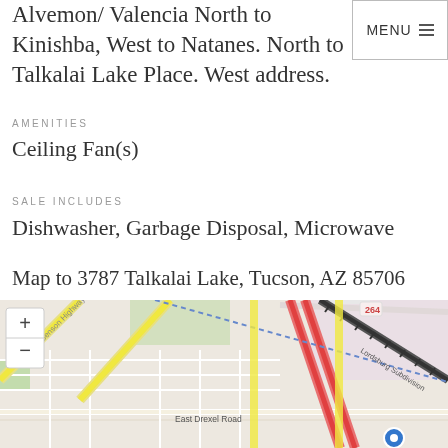Alvemon/ Valencia North to Kinishba, West to Natanes. North to Talkalai Lake Place. West address.
AMENITIES
Ceiling Fan(s)
SALE INCLUDES
Dishwasher, Garbage Disposal, Microwave
Map to 3787 Talkalai Lake, Tucson, AZ 85706
[Figure (map): Street map showing Tucson, AZ area near 3787 Talkalai Lake. Shows East Benson Highway diagonal road, East Drexel Road, route 264, route 265, Lordsburg Subdivision railroad tracks, and a blue location pin marker. Map has zoom in/out controls in upper left.]